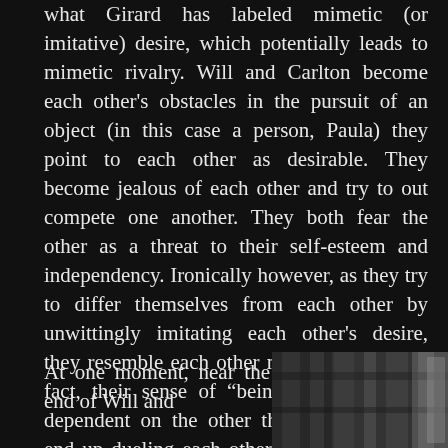what Girard has labeled mimetic (or imitative) desire, which potentially leads to mimetic rivalry. Will and Carlton become each other's obstacles in the pursuit of an object (in this case a person, Paula) they point to each other as desirable. They become jealous of each other and try to out compete one another. They both fear the other as a threat to their self-esteem and independency. Ironically however, as they try to differ themselves from each other by unwittingly imitating each other's desire, they resemble each other more and more. In fact, their sense of “being” becomes truly dependent on the other they despise. They end up dueling each other in a pillow fight, trying to settle the score.
At one moment, near the end of Will and
[Figure (photo): A dark, blurry black-and-white photograph showing what appears to be bars or architectural elements.]